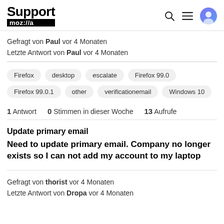Support moz://a
Gefragt von Paul vor 4 Monaten
Letzte Antwort von Paul vor 4 Monaten
Firefox
desktop
escalate
Firefox 99.0
Firefox 99.0.1
other
verificationemail
Windows 10
1 Antwort   0 Stimmen in dieser Woche   13 Aufrufe
Update primary email
Need to update primary email. Company no longer exists so I can not add my account to my laptop
Gefragt von thorist vor 4 Monaten
Letzte Antwort von Dropa vor 4 Monaten